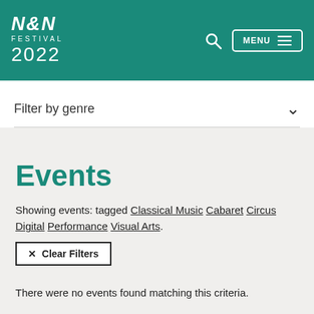N&N FESTIVAL 2022
Filter by genre
Events
Showing events: tagged Classical Music Cabaret Circus Digital Performance Visual Arts.
× Clear Filters
There were no events found matching this criteria.